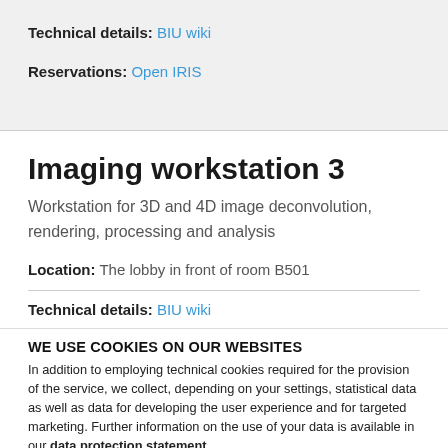Technical details: BIU wiki
Reservations: Open IRIS
Imaging workstation 3
Workstation for 3D and 4D image deconvolution, rendering, processing and analysis
Location: The lobby in front of room B501
Technical details: BIU wiki
WE USE COOKIES ON OUR WEBSITES
In addition to employing technical cookies required for the provision of the service, we collect, depending on your settings, statistical data as well as data for developing the user experience and for targeted marketing. Further information on the use of your data is available in our data protection statement